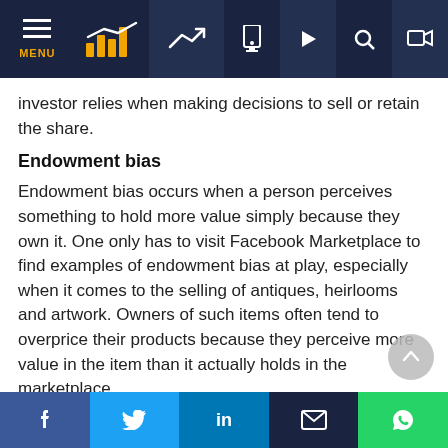Navigation bar with MENU, chart logo, trend icon, and icons for mobile, play, search, login
investor relies when making decisions to sell or retain the share.
Endowment bias
Endowment bias occurs when a person perceives something to hold more value simply because they own it. One only has to visit Facebook Marketplace to find examples of endowment bias at play, especially when it comes to the selling of antiques, heirlooms and artwork. Owners of such items often tend to overprice their products because they perceive more value in the item than it actually holds in the marketplace.
Investors who succumb to endowment bias may perceive
Social share buttons: Facebook, Twitter, LinkedIn, Email, WhatsApp